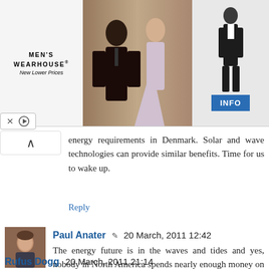[Figure (photo): Men's Wearhouse advertisement banner showing a couple in formal wear and a man in a tuxedo, with an INFO button]
energy requirements in Denmark. Solar and wave technologies can provide similar benefits. Time for us to wake up.
Reply
Paul Anater  20 March, 2011 12:42
The energy future is in the waves and tides and yes, nobody in North America spends nearly enough money on R&D.
Reply
Rufus Dogg  20 March, 2011 21:14
Equal to the irrational fear is the insistence that we send